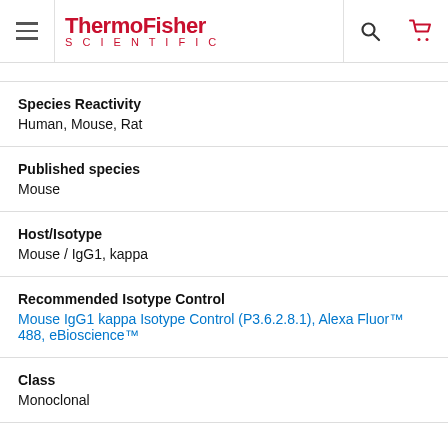ThermoFisher SCIENTIFIC
Species Reactivity
Human, Mouse, Rat
Published species
Mouse
Host/Isotype
Mouse / IgG1, kappa
Recommended Isotype Control
Mouse IgG1 kappa Isotype Control (P3.6.2.8.1), Alexa Fluor™ 488, eBioscience™
Class
Monoclonal